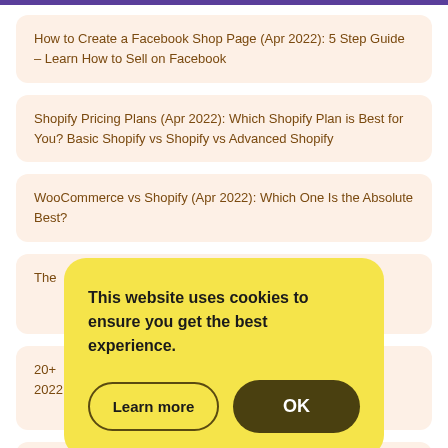How to Create a Facebook Shop Page (Apr 2022): 5 Step Guide – Learn How to Sell on Facebook
Shopify Pricing Plans (Apr 2022): Which Shopify Plan is Best for You? Basic Shopify vs Shopify vs Advanced Shopify
WooCommerce vs Shopify (Apr 2022): Which One Is the Absolute Best?
The [partially obscured]
20+ [partially obscured] or 2022
Top [partially obscured]
Learn from Each One
This website uses cookies to ensure you get the best experience.